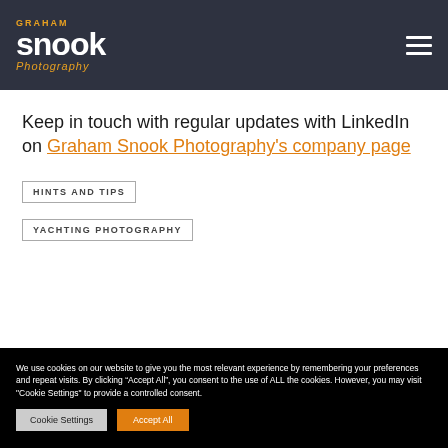GRAHAM SNOOK Photography
Keep in touch with regular updates with LinkedIn on Graham Snook Photography's company page
HINTS AND TIPS
YACHTING PHOTOGRAPHY
We use cookies on our website to give you the most relevant experience by remembering your preferences and repeat visits. By clicking “Accept All”, you consent to the use of ALL the cookies. However, you may visit "Cookie Settings" to provide a controlled consent.